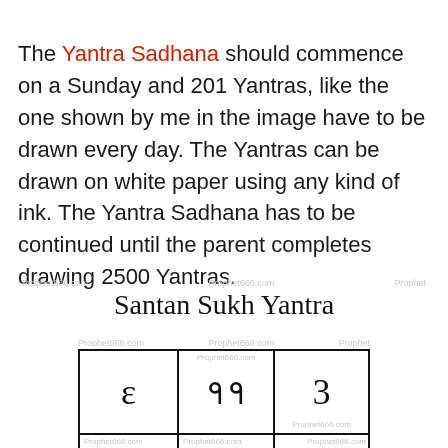The Yantra Sadhana should commence on a Sunday and 201 Yantras, like the one shown by me in the image have to be drawn every day. The Yantras can be drawn on white paper using any kind of ink. The Yantra Sadhana has to be continued until the parent completes drawing 2500 Yantras.
Santan Sukh Yantra
[Figure (other): A 3x3 grid magic square table showing the Santan Sukh Yantra with Devanagari/ancient script numerals. Top row: ε, ११, ३. Middle row: ४, ५, ८. The table is partially visible, showing two rows.]